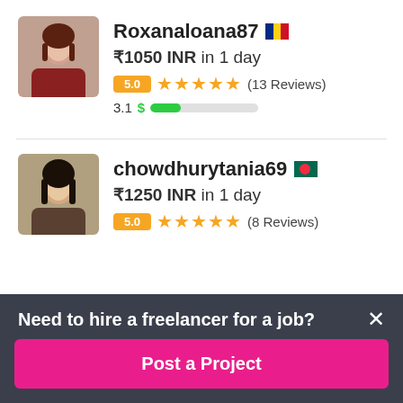[Figure (photo): Profile photo of freelancer Roxanaloana87, a woman with dark hair]
Roxanaloana87 [Romanian flag] ₹1050 INR in 1 day 5.0 ★★★★★ (13 Reviews) 3.1 $ [completion bar]
[Figure (photo): Profile photo of freelancer chowdhurytania69, a woman with long dark hair]
chowdhurytania69 [Bangladesh flag] ₹1250 INR in 1 day 5.0 ★★★★★ (8 Reviews)
Need to hire a freelancer for a job?
Post a Project